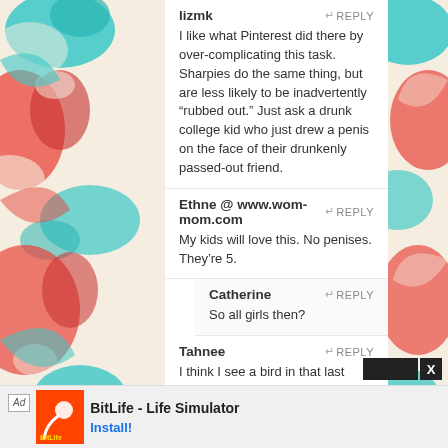[Figure (illustration): Decorative floral pattern on left and right sides with red, teal, and cream colors]
lizmk
REPLY
I like what Pinterest did there by over-complicating this task. Sharpies do the same thing, but are less likely to be inadvertently “rubbed out.” Just ask a drunk college kid who just drew a penis on the face of their drunkenly passed-out friend.
Ethne @ www.wom-mom.com
REPLY
My kids will love this. No penises. They’re 5.
Catherine
REPLY
So all girls then?
Tahnee
REPLY
I think I see a bird in that last picture, lol.
Casey
REPLY
nail polish remover gets everything off 😉
[Figure (screenshot): Ad bar at the bottom: BitLife - Life Simulator app advertisement with Install button]